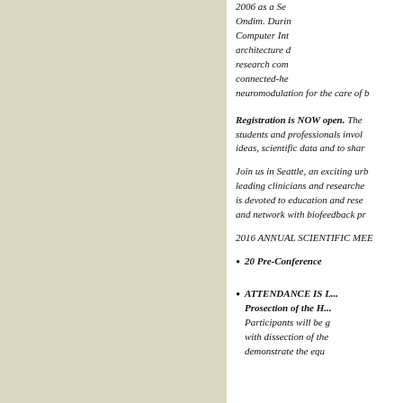2006 as a Se... Ondim. During... Computer Int... architecture d... research com... connected-he... neuromodulation for the care of ...
Registration is NOW open. The... students and professionals invol... ideas, scientific data and to shar...
Join us in Seattle, an exciting urb... leading clinicians and researche... is devoted to education and rese... and network with biofeedback pr...
2016 ANNUAL SCIENTIFIC MEE...
20 Pre-Conference...
ATTENDANCE IS L... Prosection of the H... Participants will be g... with dissection of the... demonstrate the equ...